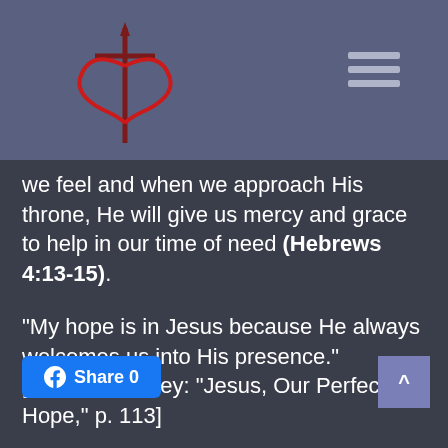[Figure (logo): Church logo with cross and heart symbol in red on purple/blue header background]
[Figure (other): Hamburger menu icon (three horizontal lines) in top right of header]
we feel and when we approach His throne, He will give us mercy and grace to help in our time of need (Hebrews 4:13-15).
“My hope is in Jesus because He always welcomes us into His presence.” [Charles Stanley: “Jesus, Our Perfect Hope,” p. 113]
[Figure (other): Facebook Share button with count 0]
[Figure (other): Back to top button with caret symbol]